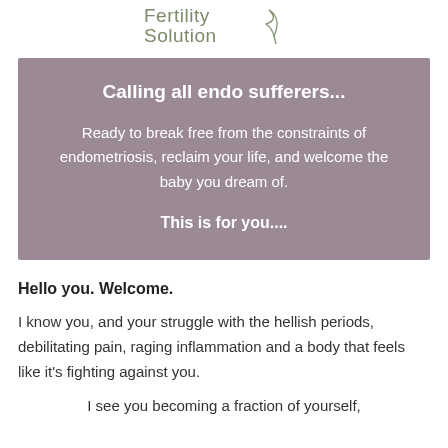[Figure (logo): Fertility Solution logo with leaf/feather graphic element in sage green]
Calling all endo sufferers...
Ready to break free from the constraints of endometriosis, reclaim your life, and welcome the baby you dream of.
This is for you....
Hello you.  Welcome.
I know you, and your struggle with the hellish periods, debilitating pain, raging inflammation and a body that feels like it's fighting against you.
I see you becoming a fraction of yourself,